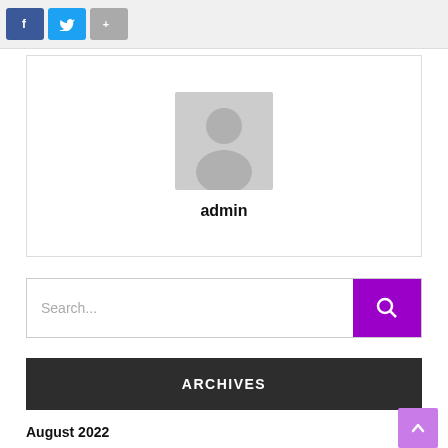[Figure (screenshot): Social share buttons: Facebook (blue), Twitter (light blue), Google+ (gray)]
[Figure (illustration): Admin profile card with default avatar placeholder and name 'admin']
admin
Search...
ARCHIVES
August 2022